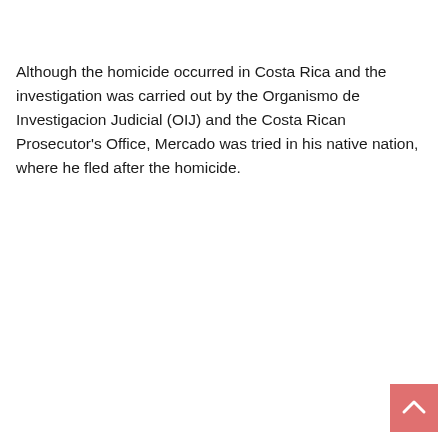Although the homicide occurred in Costa Rica and the investigation was carried out by the Organismo de Investigacion Judicial (OIJ) and the Costa Rican Prosecutor's Office, Mercado was tried in his native nation, where he fled after the homicide.